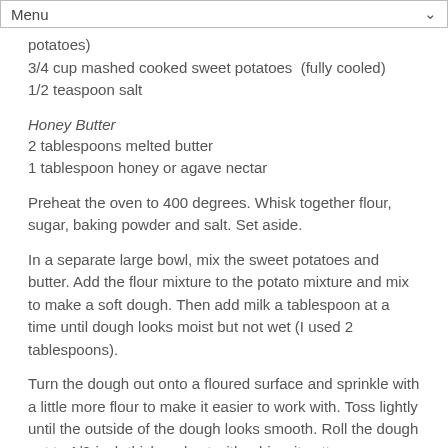Menu
potatoes)
3/4 cup mashed cooked sweet potatoes  (fully cooled)
1/2 teaspoon salt
Honey Butter
2 tablespoons melted butter
1 tablespoon honey or agave nectar
Preheat the oven to 400 degrees. Whisk together flour, sugar, baking powder and salt. Set aside.
In a separate large bowl, mix the sweet potatoes and butter. Add the flour mixture to the potato mixture and mix to make a soft dough. Then add milk a tablespoon at a time until dough looks moist but not wet (I used 2 tablespoons).
Turn the dough out onto a floured surface and sprinkle with a little more flour to make it easier to work with. Toss lightly until the outside of the dough looks smooth. Roll the dough out to 1/2-inch thick and cut with a biscuit cutter.